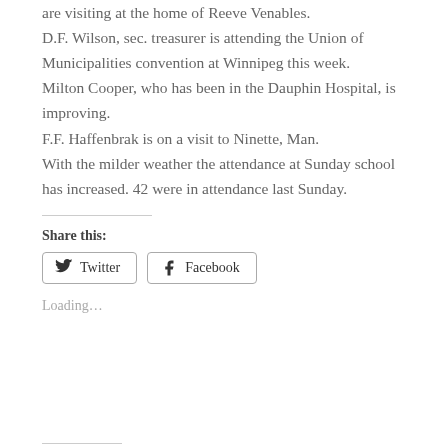are visiting at the home of Reeve Venables. D.F. Wilson, sec. treasurer is attending the Union of Municipalities convention at Winnipeg this week. Milton Cooper, who has been in the Dauphin Hospital, is improving. F.F. Haffenbrak is on a visit to Ninette, Man. With the milder weather the attendance at Sunday school has increased. 42 were in attendance last Sunday.
Share this:
Twitter
Facebook
Loading...